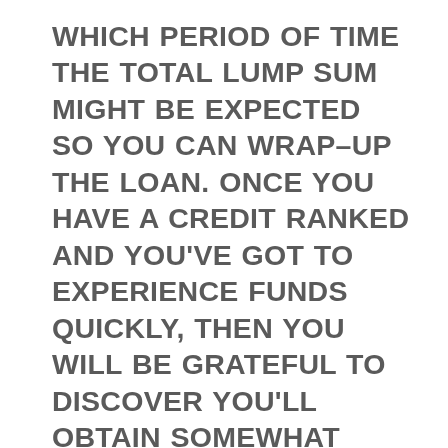WHICH PERIOD OF TIME THE TOTAL LUMP SUM MIGHT BE EXPECTED SO YOU CAN WRAP-UP THE LOAN. ONCE YOU HAVE A CREDIT RANKED AND YOU'VE GOT TO EXPERIENCE FUNDS QUICKLY, THEN YOU WILL BE GRATEFUL TO DISCOVER YOU'LL OBTAIN SOMEWHAT UNSECURED GUARANTOR LOAN PROGRESS FAST AND EASILY WHEN THE DESIRE ARISES. MANY NO EXAMINATION PRINCIPLE LOAN COMPANIES WOULD HAVE TO CONFIRM THE AUTOMOBILE SOME WAY OR ANOTHER. TRULY YOUR DECISION TO MAKE SURE THEY STAY GLUED TO ALL PERTINENT EVALUATION REGULATIONS AND SPECIFICATIONS WHEN IT IS NOT FINISHED IN PERSON OR FACE TO FACE.